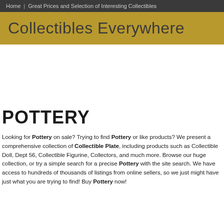Home | Great Prices and Selection of Interesting Collectibles
Collectibles Everywhere
POTTERY
Looking for Pottery on sale? Trying to find Pottery or like products? We present a comprehensive collection of Collectible Plate, including products such as Collectible Doll, Dept 56, Collectible Figurine, Collectors, and much more. Browse our huge collection, or try a simple search for a precise Pottery with the site search. We have access to hundreds of thousands of listings from online sellers, so we just might have just what you are trying to find! Buy Pottery now!